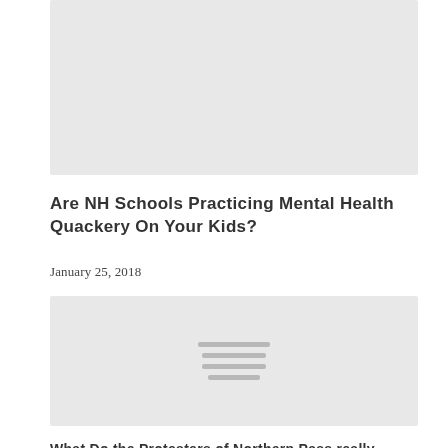[Figure (photo): Top image placeholder — light grey rectangle]
Are NH Schools Practicing Mental Health Quackery On Your Kids?
January 25, 2018
[Figure (photo): Middle image placeholder — light grey rectangle with four horizontal lines icon]
What Do the Protesters of Northern Pass really